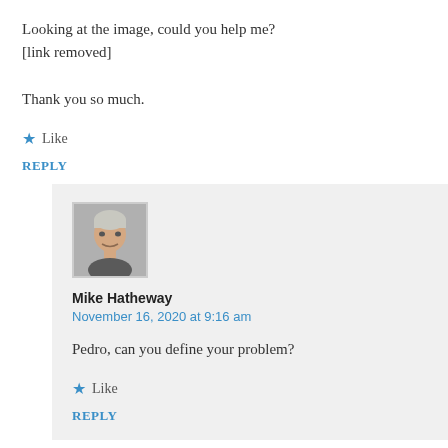Looking at the image, could you help me? [link removed]

Thank you so much.
Like
REPLY
[Figure (photo): Avatar photo of Mike Hatheway, a person with gray/white hair]
Mike Hatheway
November 16, 2020 at 9:16 am
Pedro, can you define your problem?
Like
REPLY